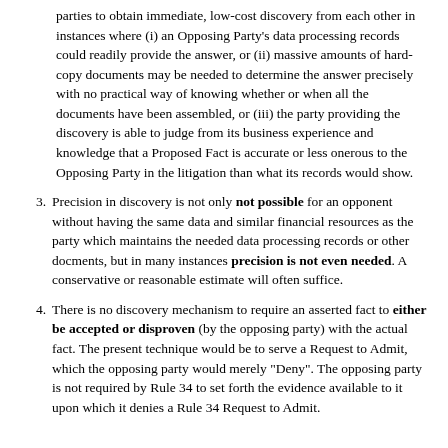parties to obtain immediate, low-cost discovery from each other in instances where (i) an Opposing Party's data processing records could readily provide the answer, or (ii) massive amounts of hard-copy documents may be needed to determine the answer precisely with no practical way of knowing whether or when all the documents have been assembled, or (iii) the party providing the discovery is able to judge from its business experience and knowledge that a Proposed Fact is accurate or less onerous to the Opposing Party in the litigation than what its records would show.
3. Precision in discovery is not only not possible for an opponent without having the same data and similar financial resources as the party which maintains the needed data processing records or other docments, but in many instances precision is not even needed. A conservative or reasonable estimate will often suffice.
4. There is no discovery mechanism to require an asserted fact to either be accepted or disproven (by the opposing party) with the actual fact. The present technique would be to serve a Request to Admit, which the opposing party would merely "Deny". The opposing party is not required by Rule 34 to set forth the evidence available to it upon which it denies a Rule 34 Request to Admit.